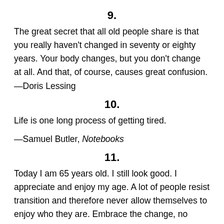9.
The great secret that all old people share is that you really haven't changed in seventy or eighty years. Your body changes, but you don't change at all. And that, of course, causes great confusion. —Doris Lessing
10.
Life is one long process of getting tired.
—Samuel Butler, Notebooks
11.
Today I am 65 years old. I still look good. I appreciate and enjoy my age. A lot of people resist transition and therefore never allow themselves to enjoy who they are. Embrace the change, no matter what it is; once you do, you can learn about the new world you're in and take